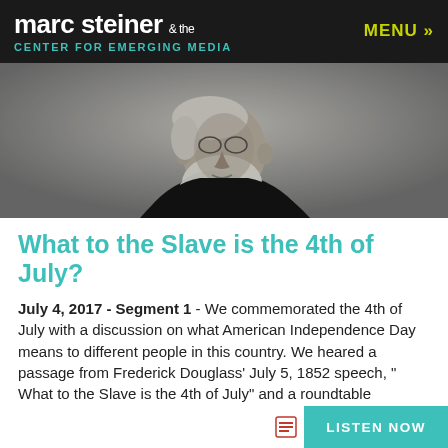marc steiner & the CENTER FOR EMERGING MEDIA   MENU »
[Figure (photo): Black and white photograph of Frederick Douglass, shown from roughly the shoulders up, with a large white beard, looking to the side.]
What to the Slave is the 4th of July?
July 4, 2017 - Segment 1 - We commemorated the 4th of July with a discussion on what American Independence Day means to different people in this country. We heared a passage from Frederick Douglass' July 5, 1852 speech, " What to the Slave is the 4th of July" and a roundtable discussion.